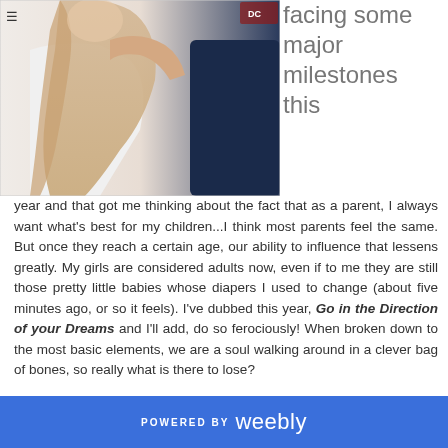[Figure (photo): Photo of a woman with long blonde hair in a white shirt embracing someone in a dark navy shirt, cropped at upper body level]
facing some major milestones this year and that got me thinking about the fact that as a parent, I always want what's best for my children...I think most parents feel the same. But once they reach a certain age, our ability to influence that lessens greatly. My girls are considered adults now, even if to me they are still those pretty little babies whose diapers I used to change (about five minutes ago, or so it feels). I've dubbed this year, Go in the Direction of your Dreams and I'll add, do so ferociously! When broken down to the most basic elements, we are a soul walking around in a clever bag of bones, so really what is there to lose?
POWERED BY weebly